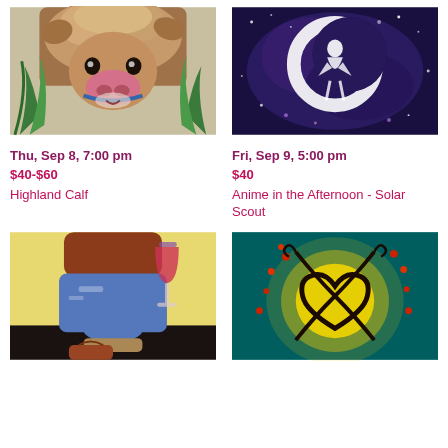[Figure (photo): Painting of a Highland Calf cow with fluffy brown fur, big nose, green plants in the background]
[Figure (photo): Anime painting - Solar Scout Sailor Moon style figure in white against dark blue galaxy background with crescent moon]
Thu, Sep 8, 7:00 pm
$40-$60
Highland Calf
Fri, Sep 9, 5:00 pm
$40
Anime in the Afternoon - Solar Scout
[Figure (photo): Painting of a woman in jeans and brown sweater sitting on a ledge holding a glass of red wine with a brown purse below]
[Figure (photo): Painting of glowing yellow heart made from tree branches intertwined with red autumn-leafed branches on teal background]